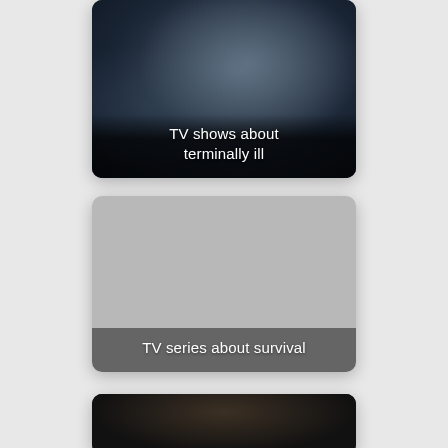[Figure (photo): Card with dark cafe/restaurant scene photo showing person sitting, overlaid with text 'TV shows about terminally ill']
[Figure (photo): Card with light gray placeholder image overlaid with text 'TV series about survival']
[Figure (photo): Partial card at bottom showing dark scene with person, partially cropped]